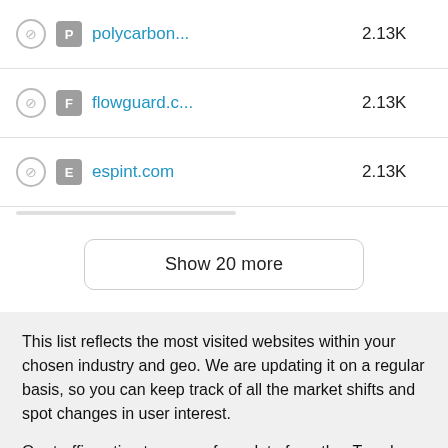|  |  | Site | Traffic |
| --- | --- | --- | --- |
|  | P | polycarbon... | 2.13K |
|  | F | flowguard.c... | 2.13K |
|  | E | espint.com | 2.13K |
Show 20 more
This list reflects the most visited websites within your chosen industry and geo. We are updating it on a regular basis, so you can keep track of all the market shifts and spot changes in user interest.
Our traffic estimates come from data from the .Trends platform, which grounds its insights on petabytes of that combines various proprietary and third-party data sources. We use our own AI algorithms to accumulate, clean, and process all this raw data, reflecting 200M+